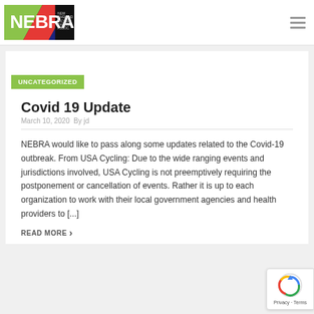[Figure (logo): NEBRA (New England Bicycle Racing Assoc.) logo with green, red, and dark blue diagonal sections on a black background]
UNCATEGORIZED
Covid 19 Update
March 10, 2020  By jd
NEBRA would like to pass along some updates related to the Covid-19 outbreak. From USA Cycling: Due to the wide ranging events and jurisdictions involved, USA Cycling is not preemptively requiring the postponement or cancellation of events. Rather it is up to each organization to work with their local government agencies and health providers to [...]
READ MORE >